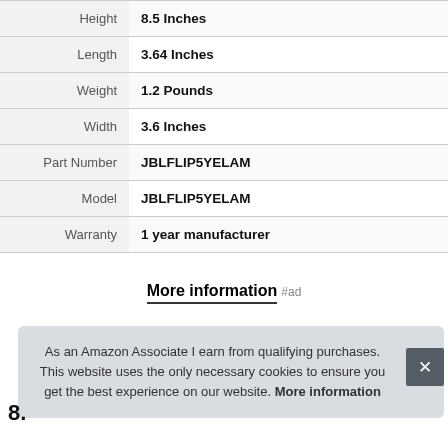| Attribute | Value |
| --- | --- |
| Height | 8.5 Inches |
| Length | 3.64 Inches |
| Weight | 1.2 Pounds |
| Width | 3.6 Inches |
| Part Number | JBLFLIP5YELAM |
| Model | JBLFLIP5YELAM |
| Warranty | 1 year manufacturer |
More information #ad
As an Amazon Associate I earn from qualifying purchases. This website uses the only necessary cookies to ensure you get the best experience on our website. More information
8.